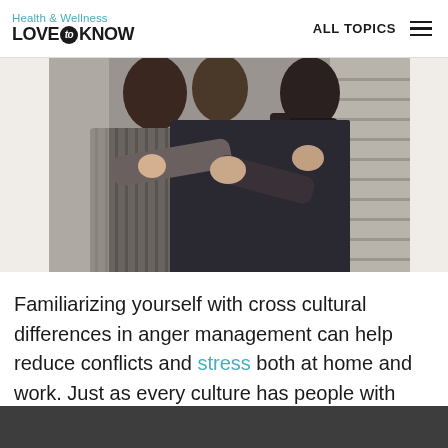Health & Wellness LoveToKnow — ALL TOPICS
[Figure (photo): Two people in business attire engaged in a physical confrontation or struggle, grabbing each other's arms]
Familiarizing yourself with cross cultural differences in anger management can help reduce conflicts and stress both at home and work. Just as every culture has people with unique ways of